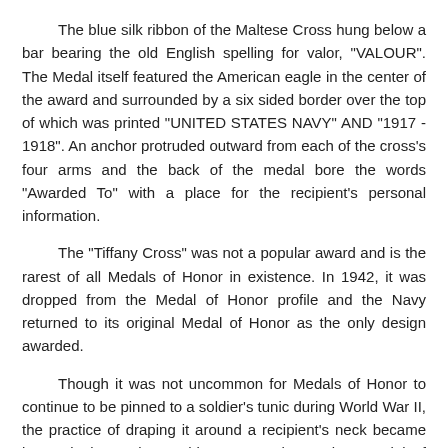The blue silk ribbon of the Maltese Cross hung below a bar bearing the old English spelling for valor, "VALOUR". The Medal itself featured the American eagle in the center of the award and surrounded by a six sided border over the top of which was printed "UNITED STATES NAVY" AND "1917 - 1918". An anchor protruded outward from each of the cross's four arms and the back of the medal bore the words "Awarded To" with a place for the recipient's personal information.
The "Tiffany Cross" was not a popular award and is the rarest of all Medals of Honor in existence. In 1942, it was dropped from the Medal of Honor profile and the Navy returned to its original Medal of Honor as the only design awarded.
Though it was not uncommon for Medals of Honor to continue to be pinned to a soldier's tunic during World War II, the practice of draping it around a recipient's neck became increasingly used. For this purpose the modern Medal of Honor was suspended from an 8-sided "pad" bearing 13 white stars, to which the blue silk neck ribbon was attached.
The Medal of Honor is the only United States Military Award that is worn around the neck rather than pinned to the uniform.